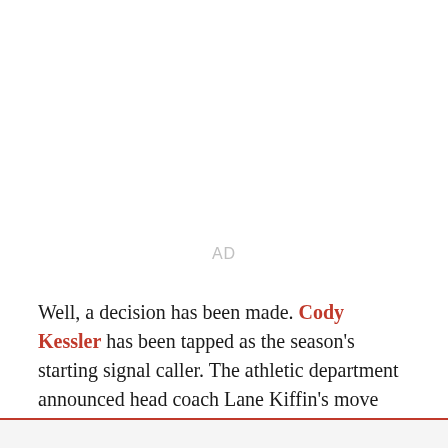AD
Well, a decision has been made. Cody Kessler has been tapped as the season's starting signal caller. The athletic department announced head coach Lane Kiffin's move minutes ago.